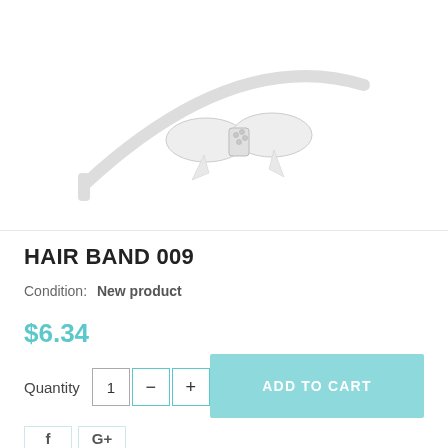[Figure (photo): White hair band with bow and rhinestone decoration on white background]
HAIR BAND 009
Condition:   New product
$6.34
Quantity  1  −  +  ADD TO CART
[Figure (other): Social sharing buttons: Facebook (f) and Google+ (G+)]